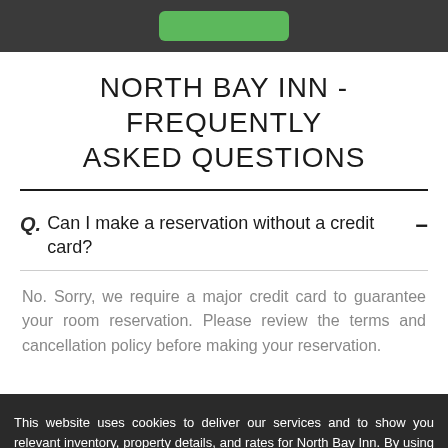NORTH BAY INN - FREQUENTLY ASKED QUESTIONS
Can I make a reservation without a credit card?
No. Sorry, we require a major credit card to guarantee your room reservation. Please review the terms and cancellation policy before making your reservation.
This website uses cookies to deliver our services and to show you relevant inventory, property details, and rates for North Bay Inn. By using our website, you acknowledge that you have read and